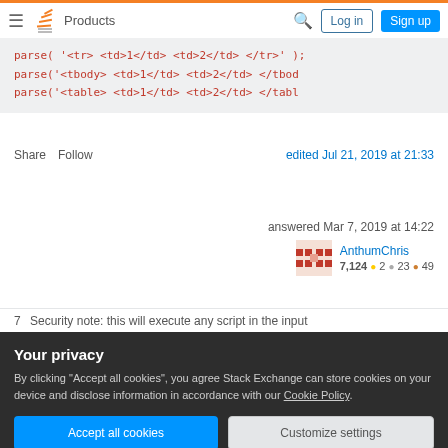Stack Overflow navigation bar with Products, Log in, Sign up
parse( '<tr> <td>1</td> <td>2</td> </tr>' );
parse('<tbody> <td>1</td> <td>2</td> </tbody');
parse('<table> <td>1</td> <td>2</td> </tabl
Share  Follow     edited Jul 21, 2019 at 21:33
answered Mar 7, 2019 at 14:22
AnthumChris  7,124 ●2 ●23 ●49
7  Security note: this will execute any script in the input
Your privacy
By clicking "Accept all cookies", you agree Stack Exchange can store cookies on your device and disclose information in accordance with our Cookie Policy.
Accept all cookies   Customize settings